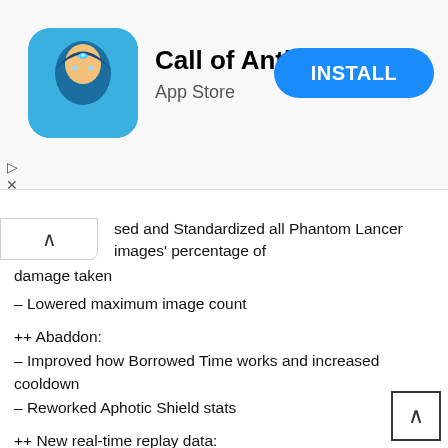[Figure (screenshot): App Store advertisement banner for 'Call of Antia' with app icon, title, subtitle 'App Store', and a blue INSTALL button]
sed and Standardized all Phantom Lancer images' percentage of damage taken
– Lowered maximum image count
++ Abaddon:
– Improved how Borrowed Time works and increased cooldown
– Reworked Aphotic Shield stats
++ New real-time replay data:
– When a hero dies: Hero, where d=dead player id and k=kill player id
– When a chicken dies: Courier, where d=dead player id and k=kill player id
– When tower dies: Tower, where a=alliance (0,1 0=sent, 1=scourge) l=level (1,2,3,4) s=side (0=top,1=mid,2=bot) and k=kill player id. for level 4 towers, s=1